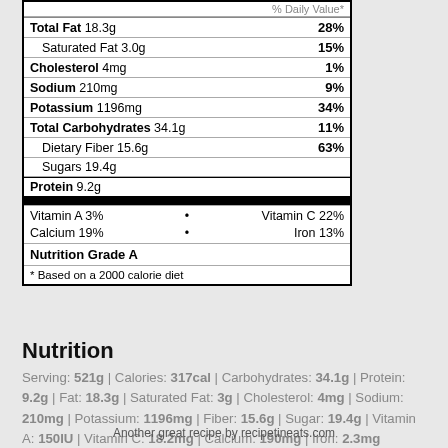| Nutrient | Amount | %DV |
| --- | --- | --- |
| Total Fat | 18.3g | 28% |
| Saturated Fat | 3.0g | 15% |
| Cholesterol | 4mg | 1% |
| Sodium | 210mg | 9% |
| Potassium | 1196mg | 34% |
| Total Carbohydrates | 34.1g | 11% |
| Dietary Fiber | 15.6g | 63% |
| Sugars | 19.4g |  |
| Protein | 9.2g |  |
| Vitamin A | 3% |  |
| Vitamin C | 22% |  |
| Calcium | 19% |  |
| Iron | 13% |  |
| Nutrition Grade A |  |  |
| * Based on a 2000 calorie diet |  |  |
Nutrition
Serving: 521g | Calories: 317cal | Carbohydrates: 34.1g | Protein: 9.2g | Fat: 18.3g | Saturated Fat: 3g | Cholesterol: 4mg | Sodium: 210mg | Potassium: 1196mg | Fiber: 15.6g | Sugar: 19.4g | Vitamin A: 150IU | Vitamin C: 18.2mg | Calcium: 190mg | Iron: 2.3mg
Another great recipe by recipetineats.com